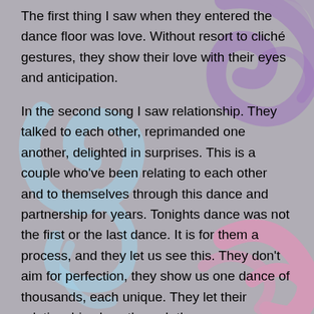The first thing I saw when they entered the dance floor was love. Without resort to cliché gestures, they show their love with their eyes and anticipation.
In the second song I saw relationship. They talked to each other, reprimanded one another, delighted in surprises. This is a couple who've been relating to each other and to themselves through this dance and partnership for years. Tonights dance was not the first or the last dance. It is for them a process, and they let us see this. They don't aim for perfection, they show us one dance of thousands, each unique. They let their relationship show through the